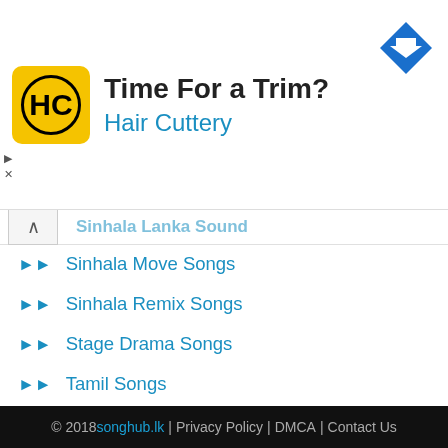[Figure (advertisement): Hair Cuttery advertisement banner with yellow HC logo, text 'Time For a Trim?' and blue 'Hair Cuttery' link, and blue diamond arrow icon on the right]
Sinhala Lanka Sound (partially visible, collapsed)
Sinhala Move Songs
Sinhala Remix Songs
Stage Drama Songs
Tamil Songs
Teledrama Theme Songs
TikTok Songs
Unplugged Songs
Wedding Songs
© 2018 songhub.lk | Privacy Policy | DMCA | Contact Us